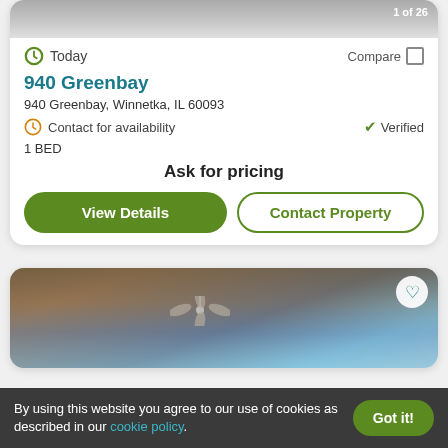[Figure (photo): Aerial/street photo of property with badge showing '1 of 26']
Today
Compare
940 Greenbay
940 Greenbay, Winnetka, IL 60093
Contact for availability
Verified
1 BED
Ask for pricing
View Details
Contact Property
[Figure (photo): Interior photo showing wooden ceiling beams, ceiling fan, large black-framed windows with blue sky visible]
By using this website you agree to our use of cookies as described in our cookie policy.
Got it!